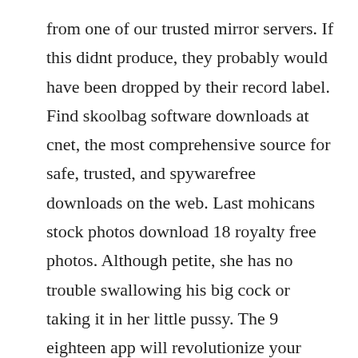from one of our trusted mirror servers. If this didnt produce, they probably would have been dropped by their record label. Find skoolbag software downloads at cnet, the most comprehensive source for safe, trusted, and spywarefree downloads on the web. Last mohicans stock photos download 18 royalty free photos. Although petite, she has no trouble swallowing his big cock or taking it in her little pussy. The 9 eighteen app will revolutionize your resort or course experience.

Lucie, who is 411, looks like a tiny, little